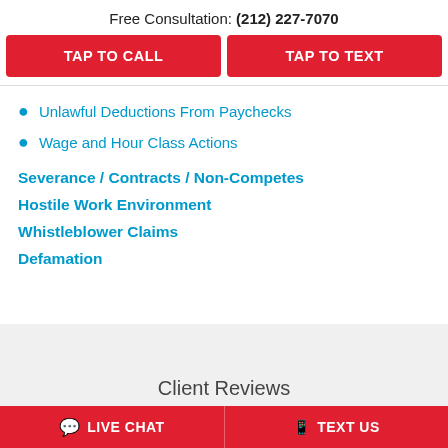Free Consultation: (212) 227-7070
TAP TO CALL
TAP TO TEXT
Unlawful Deductions From Paychecks
Wage and Hour Class Actions
Severance / Contracts / Non-Competes
Hostile Work Environment
Whistleblower Claims
Defamation
Client Reviews
LIVE CHAT
TEXT US